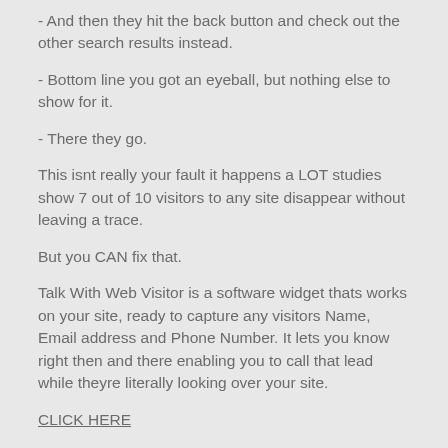- And then they hit the back button and check out the other search results instead.
- Bottom line you got an eyeball, but nothing else to show for it.
- There they go.
This isnt really your fault it happens a LOT studies show 7 out of 10 visitors to any site disappear without leaving a trace.
But you CAN fix that.
Talk With Web Visitor is a software widget thats works on your site, ready to capture any visitors Name, Email address and Phone Number. It lets you know right then and there enabling you to call that lead while theyre literally looking over your site.
CLICK HERE